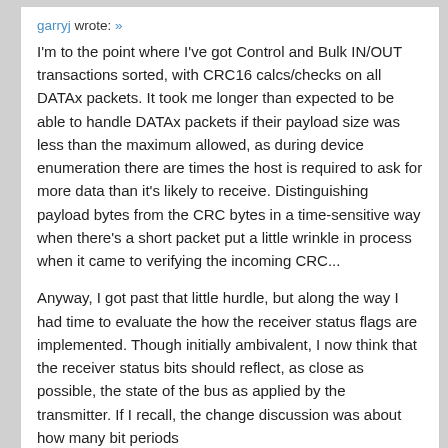garryj wrote: »
I'm to the point where I've got Control and Bulk IN/OUT transactions sorted, with CRC16 calcs/checks on all DATAx packets. It took me longer than expected to be able to handle DATAx packets if their payload size was less than the maximum allowed, as during device enumeration there are times the host is required to ask for more data than it's likely to receive. Distinguishing payload bytes from the CRC bytes in a time-sensitive way when there's a short packet put a little wrinkle in process when it came to verifying the incoming CRC...
Anyway, I got past that little hurdle, but along the way I had time to evaluate the how the receiver status flags are implemented. Though initially ambivalent, I now think that the receiver status bits should reflect, as close as possible, the state of the bus as applied by the transmitter. If I recall, the change discussion was about how many bit periods